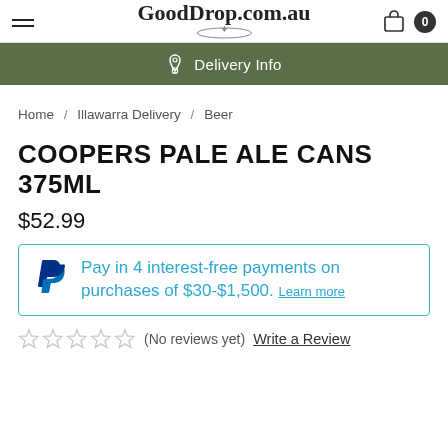GoodDrop.com.au
Delivery Info
Home / Illawarra Delivery / Beer
COOPERS PALE ALE CANS 375ML
$52.99
Pay in 4 interest-free payments on purchases of $30-$1,500. Learn more
(No reviews yet)  Write a Review